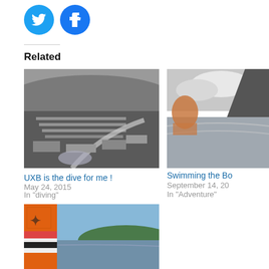[Figure (other): Twitter and Facebook social share icon circles]
Related
[Figure (photo): Black and white aerial photo of a military camp with rows of tents and buildings on a hillside]
UXB is the dive for me !
May 24, 2015
In "diving"
[Figure (photo): Partial photo showing someone swimming or holding something near water with mountains in background]
Swimming the Bo
September 14, 20
In "Adventure"
[Figure (photo): Photo of an orange and multicolored kiteboard/surfboard near a lake with hills in background]